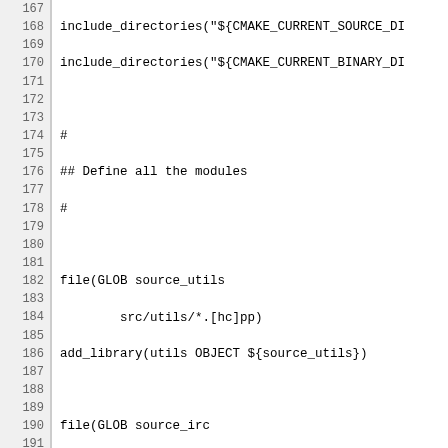Code listing lines 167-196 showing CMake build script defining modules: include_directories, file(GLOB ...), add_library(...) calls for utils, irc, xmpp, identd, bridge, config modules